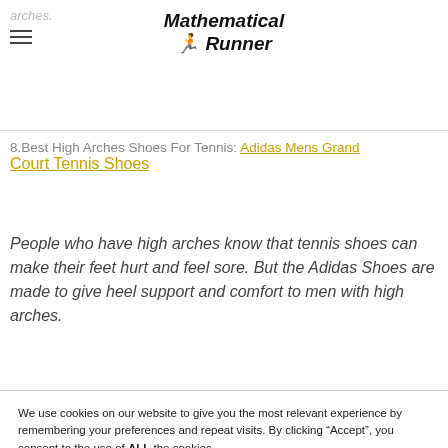Mathematical Runner
8.Best High Arches Shoes For Tennis: Adidas Mens Grand Court Tennis Shoes
People who have high arches know that tennis shoes can make their feet hurt and feel sore. But the Adidas Shoes are made to give heel support and comfort to men with high arches.
We use cookies on our website to give you the most relevant experience by remembering your preferences and repeat visits. By clicking “Accept”, you consent to the use of ALL the cookies.
Do not sell my personal information.